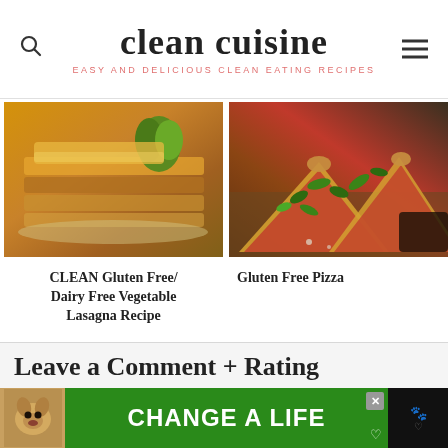clean cuisine — EASY AND DELICIOUS CLEAN EATING RECIPES
[Figure (photo): Gluten free dairy free vegetable lasagna in a baking dish with herbs]
CLEAN Gluten Free/ Dairy Free Vegetable Lasagna Recipe
[Figure (photo): Slices of gluten free pizza with tomato sauce and arugula on a wooden board]
Gluten Free Pizza
Leave a Comment + Rating
[Figure (photo): Advertisement banner: dog photo with CHANGE A LIFE text on green background]